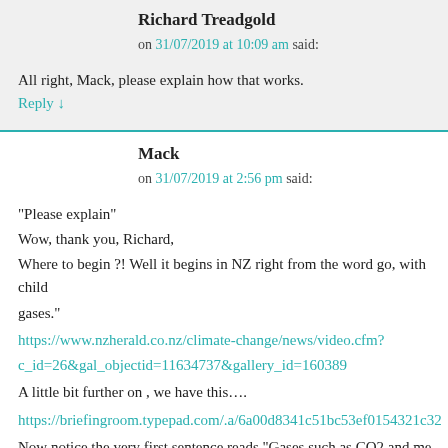Richard Treadgold
on 31/07/2019 at 10:09 am said:
All right, Mack, please explain how that works.
Reply ↓
Mack
on 31/07/2019 at 2:56 pm said:
“Please explain”
Wow, thank you, Richard,
Where to begin ?! Well it begins in NZ right from the word go, with child... gases."
https://www.nzherald.co.nz/climate-change/news/video.cfm?c_id=26&gal_objectid=11634737&gallery_id=160389
A little bit further on , we have this....
https://briefingroom.typepad.com/.a/6a00d8341c51bc53ef0154321c32...
Now notice the very first sentence reads “Gases such as CO2 and me... and stop it freezing to death”. The children have already got the noti...